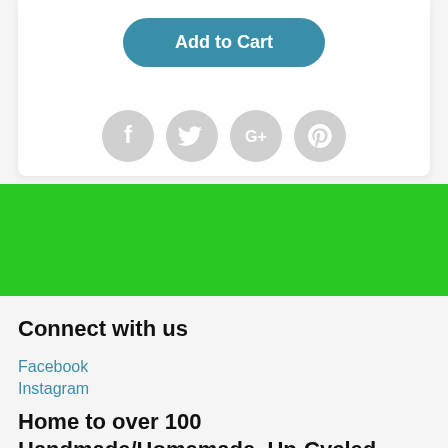Add to Cart
[Figure (illustration): Four social media icons (Facebook, Twitter, Google+, Pinterest) displayed as light gray circular buttons in a row]
Connect with us
Facebook
Instagram
Home to over 100 Handmade/Homemade, Up-Cycled, Recycled businesses...and so much